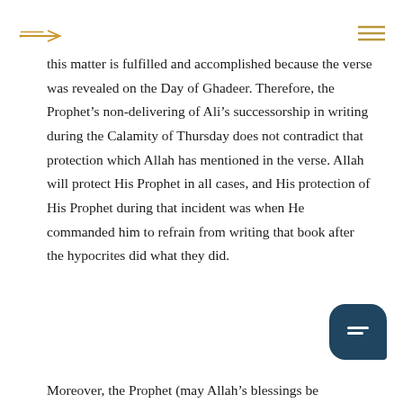[Logo] [Hamburger menu]
this matter is fulfilled and accomplished because the verse was revealed on the Day of Ghadeer. Therefore, the Prophet’s non-delivering of Ali’s successorship in writing during the Calamity of Thursday does not contradict that protection which Allah has mentioned in the verse. Allah will protect His Prophet in all cases, and His protection of His Prophet during that incident was when He commanded him to refrain from writing that book after the hypocrites did what they did.
Moreover, the Prophet (may Allah’s blessings be